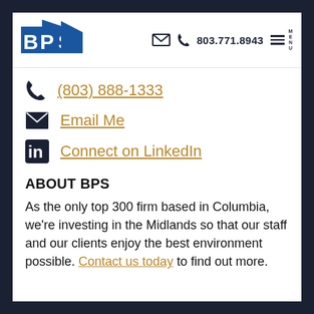BPS logo | 803.771.8943 | Menu
(803) 888-1333
Email Me
Connect on LinkedIn
ABOUT BPS
As the only top 300 firm based in Columbia, we’re investing in the Midlands so that our staff and our clients enjoy the best environment possible. Contact us today to find out more.